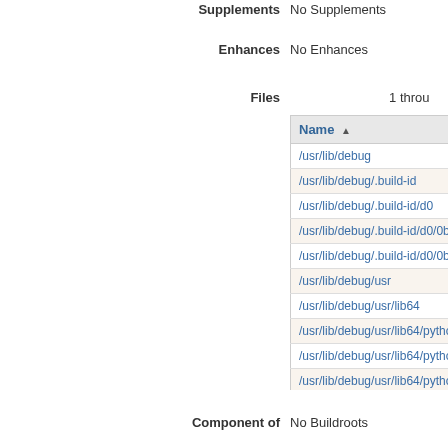Supplements  No Supplements
Enhances  No Enhances
Files  1 through
| Name ▲ |
| --- |
| /usr/lib/debug |
| /usr/lib/debug/.build-id |
| /usr/lib/debug/.build-id/d0 |
| /usr/lib/debug/.build-id/d0/0bcb80db51762a29c53756 |
| /usr/lib/debug/.build-id/d0/0bcb80db51762a29c53756 |
| /usr/lib/debug/usr |
| /usr/lib/debug/usr/lib64 |
| /usr/lib/debug/usr/lib64/python3.6 |
| /usr/lib/debug/usr/lib64/python3.6/site-packages |
| /usr/lib/debug/usr/lib64/python3.6/site-packages/pyss |
Component of  No Buildroots